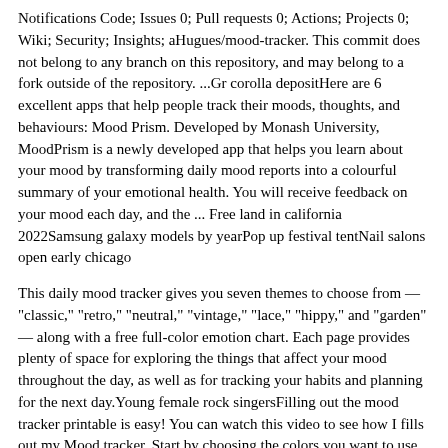Notifications Code; Issues 0; Pull requests 0; Actions; Projects 0; Wiki; Security; Insights; aHugues/mood-tracker. This commit does not belong to any branch on this repository, and may belong to a fork outside of the repository. ...Gr corolla depositHere are 6 excellent apps that help people track their moods, thoughts, and behaviours: Mood Prism. Developed by Monash University, MoodPrism is a newly developed app that helps you learn about your mood by transforming daily mood reports into a colourful summary of your emotional health. You will receive feedback on your mood each day, and the ... Free land in california 2022Samsung galaxy models by yearPop up festival tentNail salons open early chicago
This daily mood tracker gives you seven themes to choose from — "classic," "retro," "neutral," "vintage," "lace," "hippy," and "garden" — along with a free full-color emotion chart. Each page provides plenty of space for exploring the things that affect your mood throughout the day, as well as for tracking your habits and planning for the next day.Young female rock singersFilling out the mood tracker printable is easy! You can watch this video to see how I fills out my Mood tracker. Start by choosing the colors you want to use. You'll need five different colors to fill out the key. There's no right or wrong. Some people like to use darker colors for sad and heavy emotions and lighter colors for happier emotions. Xilinx petalinux installation guideApr 09, 2021 · A